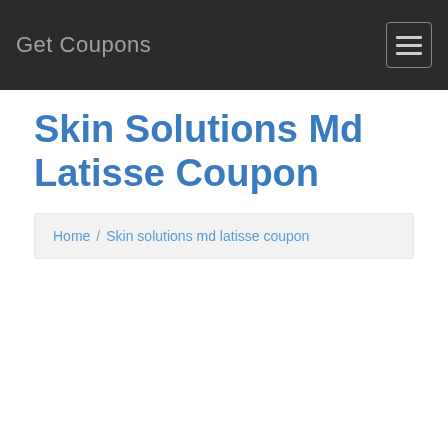Get Coupons
Skin Solutions Md Latisse Coupon
Home / Skin solutions md latisse coupon